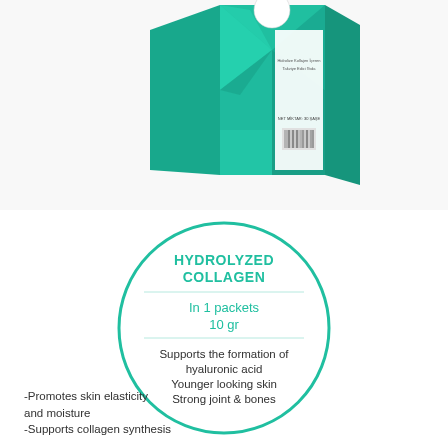[Figure (photo): Teal/green geometric diamond-pattern supplement box with white label strip showing 'Hidrolize Kollajen İçeren Takviye Edici Gıda' and 'NET MIKTAR: 30 SAŞE']
[Figure (infographic): Circle outline in teal with text: HYDROLYZED COLLAGEN, In 1 packets 10 gr, Supports the formation of hyaluronic acid, Younger looking skin, Strong joint & bones]
-Promotes skin elasticity and moisture
-Supports collagen synthesis